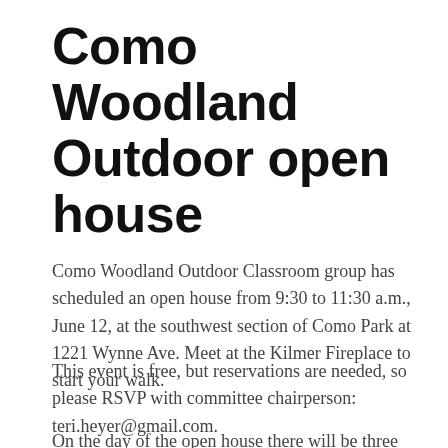Como Woodland Outdoor open house
Como Woodland Outdoor Classroom group has scheduled an open house from 9:30 to 11:30 a.m., June 12, at the southwest section of Como Park at 1221 Wynne Ave. Meet at the Kilmer Fireplace to start your walk.
This event is free, but reservations are needed, so please RSVP with committee chairperson: teri.heyer@gmail.com.
On the day of the open house there will be three stations with advisors providing information about